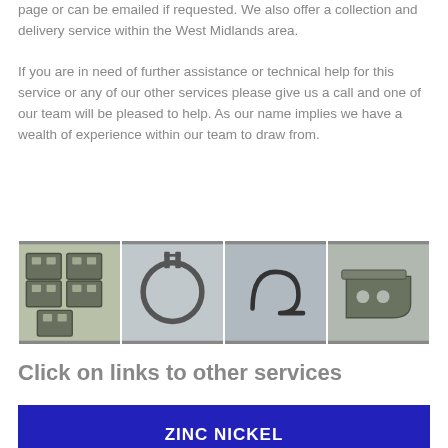page or can be emailed if requested. We also offer a collection and delivery service within the West Midlands area.
If you are in need of further assistance or technical help for this service or any of our other services please give us a call and one of our team will be pleased to help. As our name implies we have a wealth of experience within our team to draw from.
[Figure (photo): Four metal hardware parts: stamped metal brackets/clips, a circular clamp ring, a bent wire hook, and a metal bracket with holes]
Click on links to other services
ZINC NICKEL